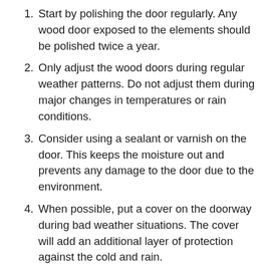Start by polishing the door regularly. Any wood door exposed to the elements should be polished twice a year.
Only adjust the wood doors during regular weather patterns. Do not adjust them during major changes in temperatures or rain conditions.
Consider using a sealant or varnish on the door. This keeps the moisture out and prevents any damage to the door due to the environment.
When possible, put a cover on the doorway during bad weather situations. The cover will add an additional layer of protection against the cold and rain.
Consider buying a door that is made of fiberglass, rather than wood. Fiberglass doors are more weather resistant.